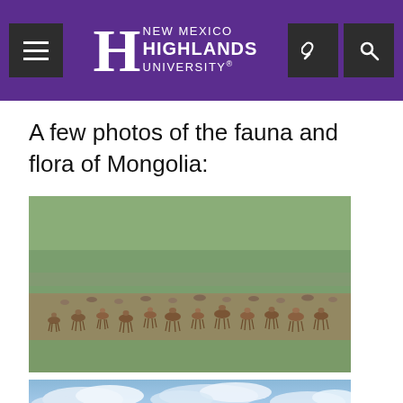New Mexico Highlands University
A few photos of the fauna and flora of Mongolia:
[Figure (photo): A large herd of gazelles or deer grazing on a vast green Mongolian steppe landscape]
[Figure (photo): Blue sky with white clouds over Mongolian landscape (partial view)]